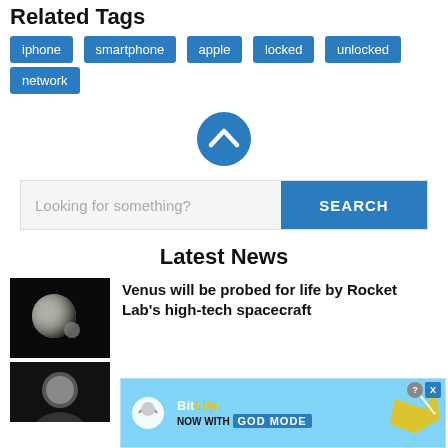Related Tags
iphone
smartphone
apple
locked
unlocked
network
[Figure (illustration): Blue circle with upward-pointing chevron arrow icon]
Looking for something?
SEARCH
Latest News
[Figure (photo): Dark image of a planet (Venus) against black background]
Venus will be probed for life by Rocket Lab's high-tech spacecraft
[Figure (screenshot): BitLife advertisement banner - NOW WITH GOD MODE]
[Figure (photo): Dark photo of a person]